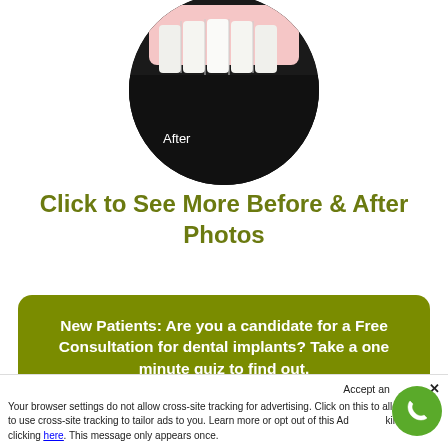[Figure (photo): Circular cropped dental 'After' photo showing white teeth against dark background with 'After' label in lower left]
Click to See More Before & After Photos
New Patients: Are you a candidate for a Free Consultation for dental implants? Take a one minute quiz to find out.
Accept and close ✕ Your browser settings do not allow cross-site tracking for advertising. Click on this to allow AdRoll to use cross-site tracking to tailor ads to you. Learn more or opt out of this AdRoll tracking by clicking here. This message only appears once.